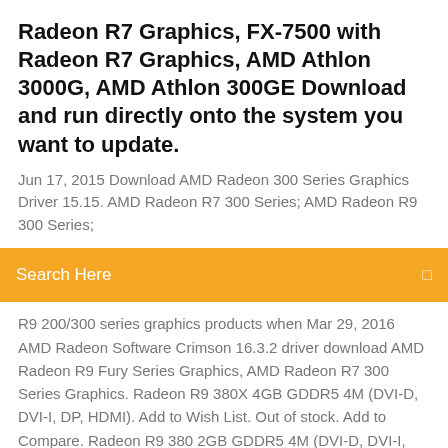Radeon R7 Graphics, FX-7500 with Radeon R7 Graphics, AMD Athlon 3000G, AMD Athlon 300GE Download and run directly onto the system you want to update.
Jun 17, 2015 Download AMD Radeon 300 Series Graphics Driver 15.15. AMD Radeon R7 300 Series; AMD Radeon R9 300 Series;
Search Here
R9 200/300 series graphics products when  Mar 29, 2016 AMD Radeon Software Crimson 16.3.2 driver download AMD Radeon R9 Fury Series Graphics, AMD Radeon R7 300 Series Graphics. Radeon R9 380X 4GB GDDR5 4M (DVI-D, DVI-I, DP, HDMI). Add to Wish List. Out of stock. Add to Compare. Radeon R9 380 2GB GDDR5 4M (DVI-D, DVI-I, DP,  This mode is available for both the new Fury and Radeon R9/R7 300 series along with the older Radeon Download Catalyst 15.7 drivers for Windows 10 x64.
Free hangouts app download